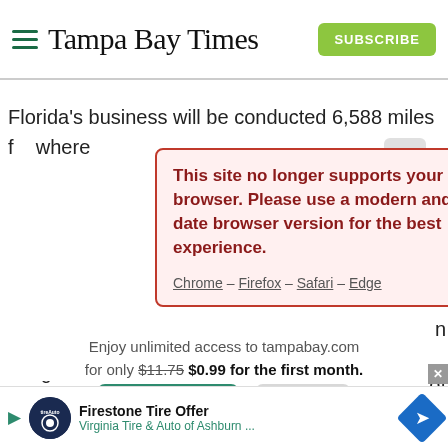Tampa Bay Times
Florida's business will be conducted 6,588 miles f   where
[Figure (screenshot): Browser compatibility error popup with message: This site no longer supports your current browser. Please use a modern and up-to-date browser version for the best experience. Chrome – Firefox – Safari – Edge]
Enjoy unlimited access to tampabay.com for only $11.75 $0.99 for the first month.
Subscribe   Log In
Interested in print delivery? Subscribe here →
Firestone Tire Offer Virginia Tire & Auto of Ashburn ...